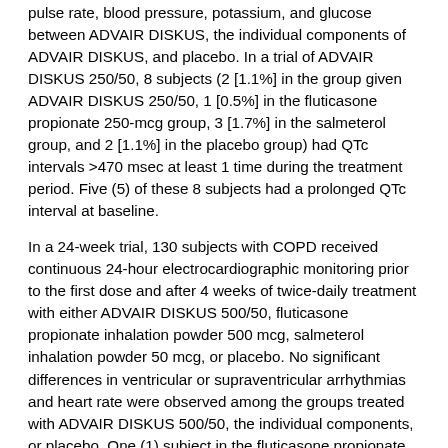pulse rate, blood pressure, potassium, and glucose between ADVAIR DISKUS, the individual components of ADVAIR DISKUS, and placebo. In a trial of ADVAIR DISKUS 250/50, 8 subjects (2 [1.1%] in the group given ADVAIR DISKUS 250/50, 1 [0.5%] in the fluticasone propionate 250-mcg group, 3 [1.7%] in the salmeterol group, and 2 [1.1%] in the placebo group) had QTc intervals >470 msec at least 1 time during the treatment period. Five (5) of these 8 subjects had a prolonged QTc interval at baseline.
In a 24-week trial, 130 subjects with COPD received continuous 24-hour electrocardiographic monitoring prior to the first dose and after 4 weeks of twice-daily treatment with either ADVAIR DISKUS 500/50, fluticasone propionate inhalation powder 500 mcg, salmeterol inhalation powder 50 mcg, or placebo. No significant differences in ventricular or supraventricular arrhythmias and heart rate were observed among the groups treated with ADVAIR DISKUS 500/50, the individual components, or placebo. One (1) subject in the fluticasone propionate group experienced atrial flutter/atrial fibrillation, and 1 subject in the group given ADVAIR DISKUS 500/50 experienced heart block. There were 3 cases of nonsustained ventricular tachycardia (1 each in the placebo, salmeterol, and fluticasone propionate 500-mcg treatment groups).
In 24-week clinical trials in subjects with COPD, the incidence of clinically significant ECG abnormalities (supraventricular ...